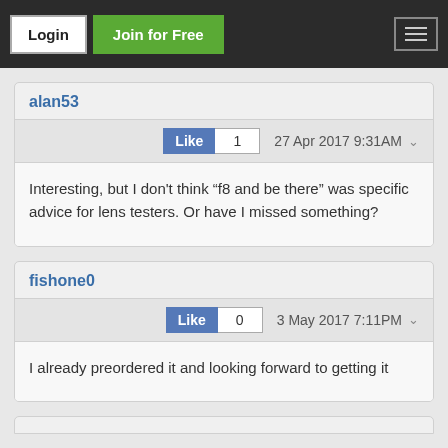Login | Join for Free
alan53
Like 1  27 Apr 2017 9:31AM
Interesting, but I don't think “f8 and be there” was specific advice for lens testers. Or have I missed something?
fishone0
Like 0  3 May 2017 7:11PM
I already preordered it and looking forward to getting it